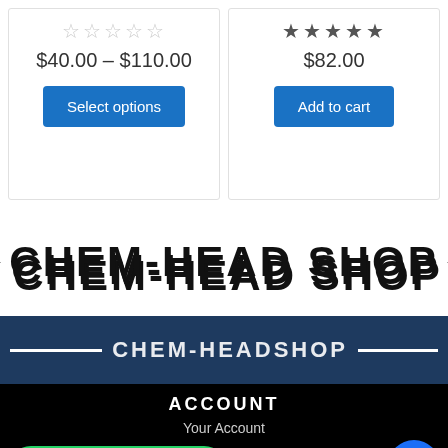☆☆☆☆☆
$40.00 – $110.00
Select options
★★★★★
$82.00
Add to cart
[Figure (logo): CHEM-HEAD SHOP drip-style black logo with horizontal lines on sides]
[Figure (logo): CHEM-HEAD SHOP white outlined logo on dark blue band with white horizontal lines on sides]
ACCOUNT
Your Account
How can I help you?
INFORMATION